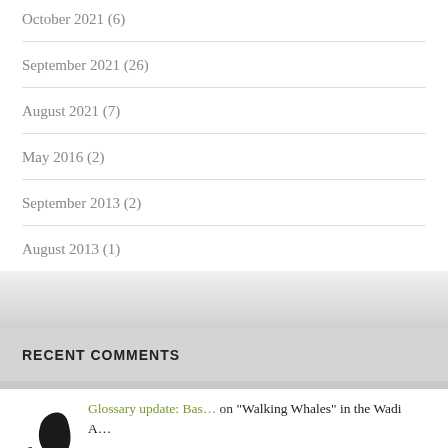October 2021 (6)
September 2021 (26)
August 2021 (7)
May 2016 (2)
September 2013 (2)
August 2013 (1)
RECENT COMMENTS
Glossary update: Bas… on “Walking Whales” in the Wadi A…